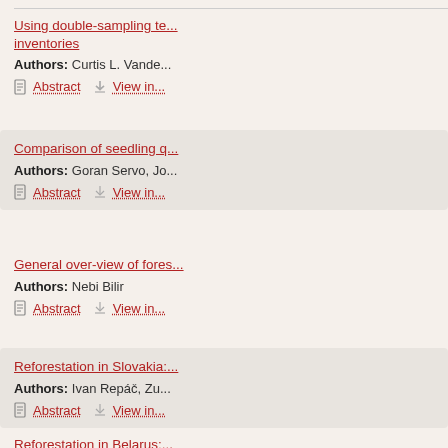Using double-sampling te... inventories
Authors: Curtis L. Vande...
Abstract | View in...
Comparison of seedling q...
Authors: Goran Servo, Jo...
Abstract | View in...
General over-view of fores...
Authors: Nebi Bilir
Abstract | View in...
Reforestation in Slovakia:...
Authors: Ivan Repáč, Zu...
Abstract | View in...
Reforestation in Belarus:...